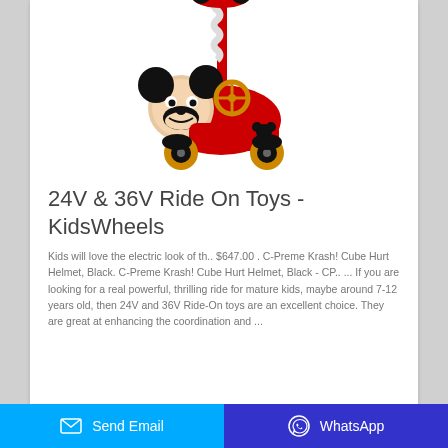[Figure (photo): Mickey Mouse themed ride-on toy car with steering wheel, red and black colors, orange wheels, with a red Mickey Mouse handle/umbrella extension on top]
24V & 36V Ride On Toys - KidsWheels
Kids will love the electric look of th.. $647.00 . C-Preme Krash! Cube Hurt Helmet, Black. C-Preme Krash! Cube Hurt Helmet, Black - CP.. ... If you are looking for a real powerful, thrilling ride for mature kids, maybe around 7-12 years old, then 24V and 36V Ride-On toys are an excellent choice. They are great at enhancing the coordination and ...